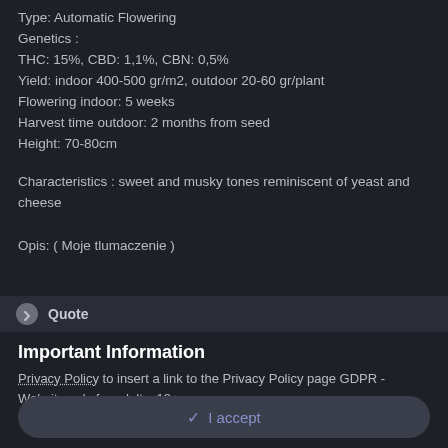Type: Automatic Flowering
Genetics :
THC: 15%, CBD: 1,1%, CBN: 0,5%
Yield: indoor 400-500 gr/m2, outdoor 20-60 gr/plant
Flowering indoor: 5 weeks
Harvest time outdoor: 2 months from seed
Height: 70-80cm
Characteristics : sweet and musky tones reminiscent of yeast and cheese
Opis: ( Moje tlumaczenie )
Quote
Important Information
Privacy Policy to insert a link to the Privacy Policy page GDPR - Website only for adults, 18+
✓ I accept